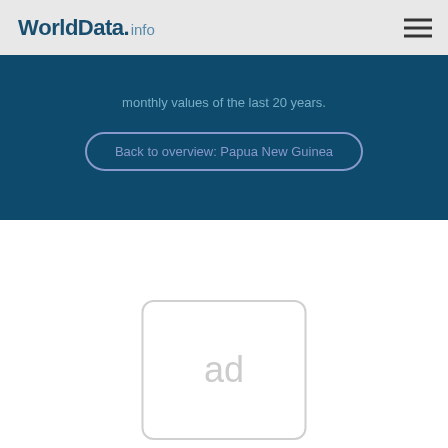WorldData.info
monthly values of the last 20 years.
Back to overview: Papua New Guinea
[Figure (other): Advertisement placeholder box with 'ad' text]